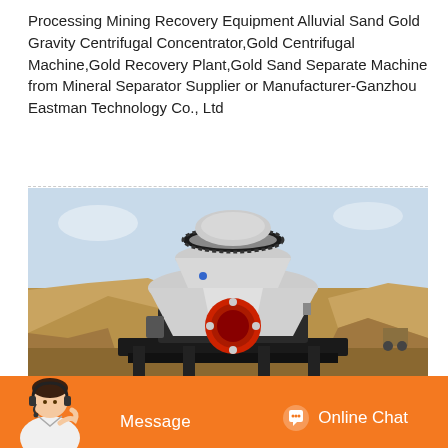Processing Mining Recovery Equipment Alluvial Sand Gold Gravity Centrifugal Concentrator,Gold Centrifugal Machine,Gold Recovery Plant,Gold Sand Separate Machine from Mineral Separator Supplier or Manufacturer-Ganzhou Eastman Technology Co., Ltd
[Figure (photo): A large gold centrifugal concentrator / cone crusher machine photographed outdoors at a mining site. The machine is mounted on a black metal frame, has a large cone-shaped body in white/grey with an orange/red circular opening at the front, and a gear ring at the top. Rocky terrain and blue sky visible in the background.]